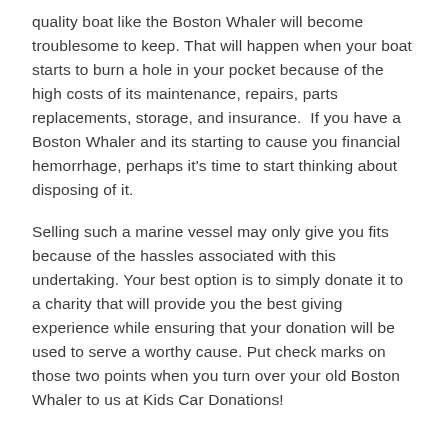quality boat like the Boston Whaler will become troublesome to keep. That will happen when your boat starts to burn a hole in your pocket because of the high costs of its maintenance, repairs, parts replacements, storage, and insurance.  If you have a Boston Whaler and its starting to cause you financial hemorrhage, perhaps it's time to start thinking about disposing of it.
Selling such a marine vessel may only give you fits because of the hassles associated with this undertaking. Your best option is to simply donate it to a charity that will provide you the best giving experience while ensuring that your donation will be used to serve a worthy cause. Put check marks on those two points when you turn over your old Boston Whaler to us at Kids Car Donations!